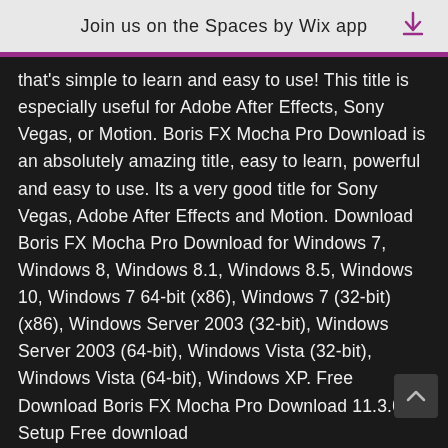Join us on the Spaces by Wix app
that's simple to learn and easy to use! This title is especially useful for Adobe After Effects, Sony Vegas, or Motion. Boris FX Mocha Pro Download is an absolutely amazing title, easy to learn, powerful and easy to use. Its a very good title for Sony Vegas, Adobe After Effects and Motion. Download Boris FX Mocha Pro Download for Windows 7, Windows 8, Windows 8.1, Windows 8.5, Windows 10, Windows 7 64-bit (x86), Windows 7 (32-bit) (x86), Windows Server 2003 (32-bit), Windows Server 2003 (64-bit), Windows Vista (32-bit), Windows Vista (64-bit), Windows XP. Free Download Boris FX Mocha Pro Download 11.3.0 Setup Free download